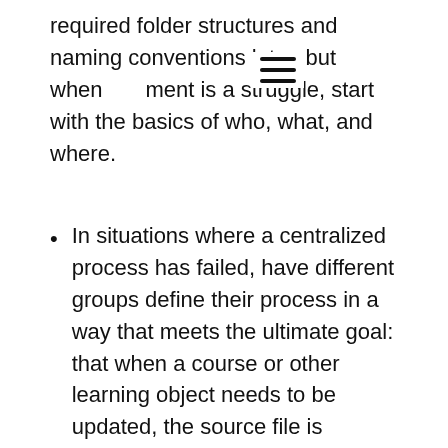required folder structures and naming conventions later, but when [menu] ment is a struggle, start with the basics of who, what, and where.
In situations where a centralized process has failed, have different groups define their process in a way that meets the ultimate goal: that when a course or other learning object needs to be updated, the source file is accessible at that time. This may mean that ILT materials are stored in a different location than eLearning. While it may not be ideal, as long as the files get saved and those that make